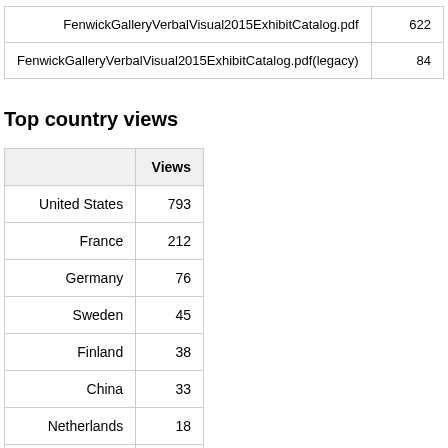|  |  |
| --- | --- |
| FenwickGalleryVerbalVisual2015ExhibitCatalog.pdf | 622 |
| FenwickGalleryVerbalVisual2015ExhibitCatalog.pdf(legacy) | 84 |
Top country views
|  | Views |
| --- | --- |
| United States | 793 |
| France | 212 |
| Germany | 76 |
| Sweden | 45 |
| Finland | 38 |
| China | 33 |
| Netherlands | 18 |
| Canada | 17 |
| United Kingdom | 11 |
| India | 11 |